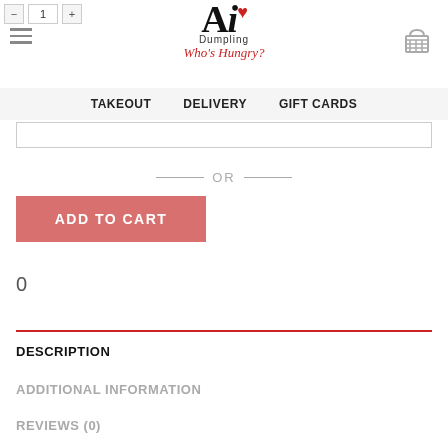Ai Dumpling - Who's Hungry? | TAKEOUT DELIVERY GIFT CARDS
— OR —
ADD TO CART
0
DESCRIPTION
ADDITIONAL INFORMATION
REVIEWS (0)